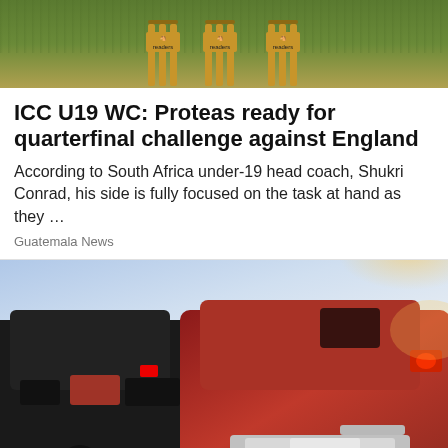[Figure (photo): Cricket stumps with 'Readers' branding on a grass background, showing three sets of stumps]
ICC U19 WC: Proteas ready for quarterfinal challenge against England
According to South Africa under-19 head coach, Shukri Conrad, his side is fully focused on the task at hand as they …
Guatemala News
[Figure (photo): Several dark and red SUVs/trucks parked on a road, rear view, with dramatic sky in background]